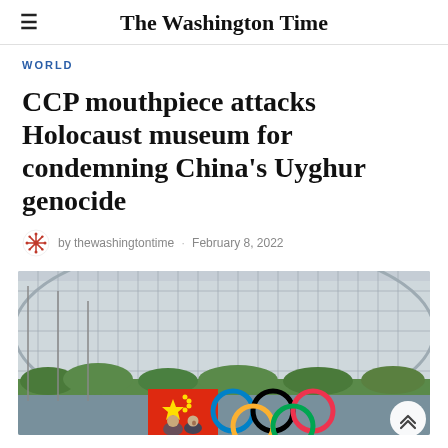The Washington Times
WORLD
CCP mouthpiece attacks Holocaust museum for condemning China's Uyghur genocide
by thewashingtontime · February 8, 2022
[Figure (photo): People holding a Chinese flag in front of a large modern building with the Olympic rings displayed prominently. A person appears to be shouting or protesting. The building has a glass and steel cylindrical facade.]